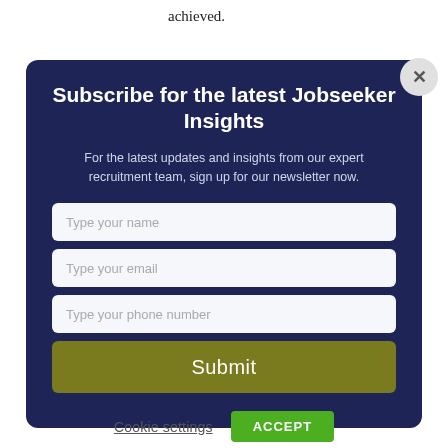achieved.
Subscribe for the latest Jobseeker Insights
For the latest updates and insights from our expert recruitment team, sign up for our newsletter now.
Type your name
Type your email
Type your phone number
Submit
Cookie settings
ACCEPT